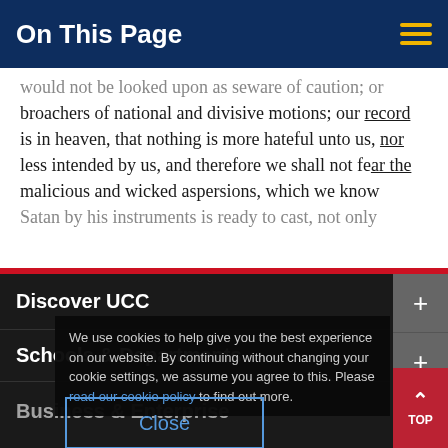On This Page
would not be looked upon as seware of caution; or broachers of national and divisive motions; our record is in heaven, that nothing is more hateful unto us, nor less intended by us, and therefore we shall not fear the malicious and wicked aspersions, which we know Satan by his instruments is ready to cast, not only
Discover UCC
Schools & Departments
Business & Enterprise
We use cookies to help give you the best experience on our website. By continuing without changing your cookie settings, we assume you agree to this. Please read our cookie policy to find out more.
Alumni & Development
Home